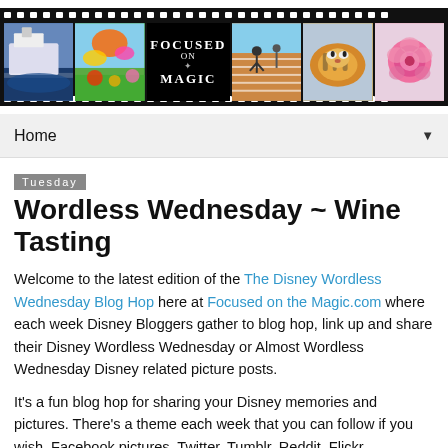[Figure (illustration): Film strip banner header for 'Focused on the Magic' blog, showing multiple photos (cruise ship, theme park flowers, tiger, rose, track runners) arranged as film frames with sprocket holes]
Home ▼
Tuesday
Wordless Wednesday ~ Wine Tasting
Welcome to the latest edition of the The Disney Wordless Wednesday Blog Hop here at Focused on the Magic.com where each week Disney Bloggers gather to blog hop, link up and share their Disney Wordless Wednesday or Almost Wordless Wednesday Disney related picture posts.
It's a fun blog hop for sharing your Disney memories and pictures. There's a theme each week that you can follow if you wish. Facebook pictures, Twitter, Tumblr, Reddit, Flickr